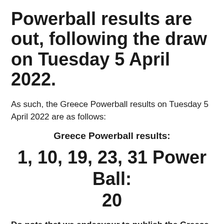Powerball results are out, following the draw on Tuesday 5 April 2022.
As such, the Greece Powerball results on Tuesday 5 April 2022 are as follows:
Greece Powerball results:
1, 10, 19, 23, 31 Power Ball: 20
Do note that we endeavour to publish the Greece Powerball results as soon as they are released, which is usually at